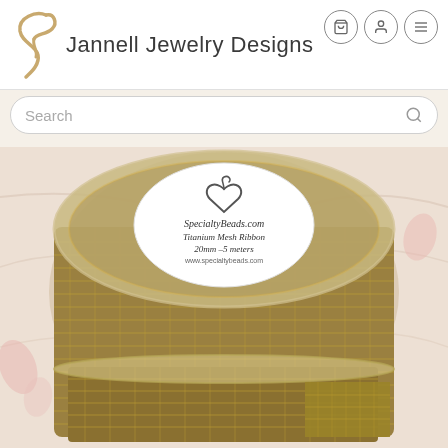Jannell Jewelry Designs
Search
[Figure (photo): A spool of gold titanium mesh ribbon in a clear round plastic container. The label on top reads: SpecialtyBeads.com Titanium Mesh Ribbon 20mm -5 meters www.specialtybeads.com. The gold mesh ribbon is visible on the sides and front of the spool. The background is a white marble surface.]